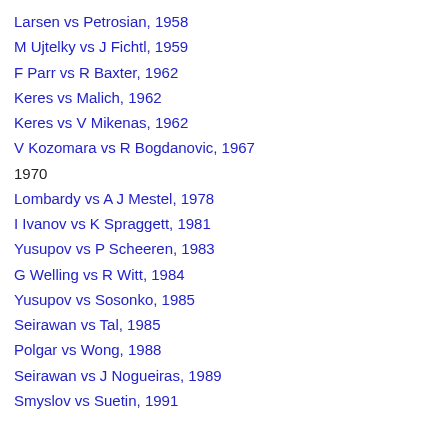Larsen vs Petrosian, 1958
M Ujtelky vs J Fichtl, 1959
F Parr vs R Baxter, 1962
Keres vs Malich, 1962
Keres vs V Mikenas, 1962
V Kozomara vs R Bogdanovic, 1967
1970
Lombardy vs A J Mestel, 1978
I Ivanov vs K Spraggett, 1981
Yusupov vs P Scheeren, 1983
G Welling vs R Witt, 1984
Yusupov vs Sosonko, 1985
Seirawan vs Tal, 1985
Polgar vs Wong, 1988
Seirawan vs J Nogueiras, 1989
Smyslov vs Suetin, 1991